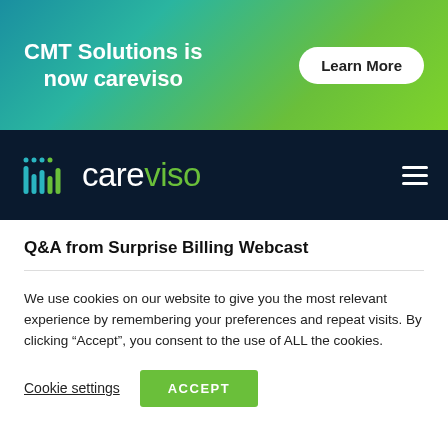[Figure (logo): Careviso promotional banner with gradient teal-to-green background. Text: 'CMT Solutions is now careviso' and a 'Learn More' button.]
[Figure (logo): Careviso navigation bar with dark navy background, careviso logo with vertical bar chart icon and wordmark, and hamburger menu icon.]
Q&A from Surprise Billing Webcast
We use cookies on our website to give you the most relevant experience by remembering your preferences and repeat visits. By clicking “Accept”, you consent to the use of ALL the cookies.
Cookie settings   ACCEPT